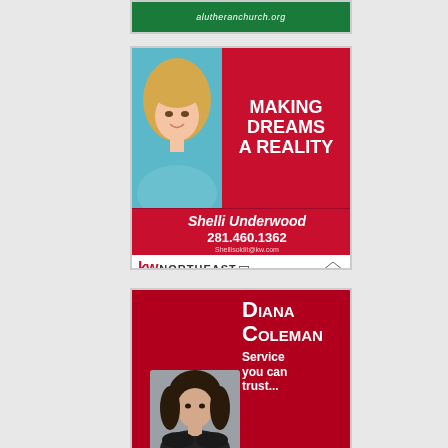[Figure (advertisement): Partial green banner ad for alutheranchurch.org]
[Figure (advertisement): Shelli Underwood real estate ad for Keller Williams Northeast Realty. Text: MAKING DREAMS A REALITY. Shelli Underwood. 281.460.1362. Shellisoldit@kw.com. kw NORTHEAST KELLERWILLIAMS REALTY. Each office is independently owned and operated.]
[Figure (advertisement): Diana Coleman real estate ad. Text: Diana Coleman. Service you can trust...]